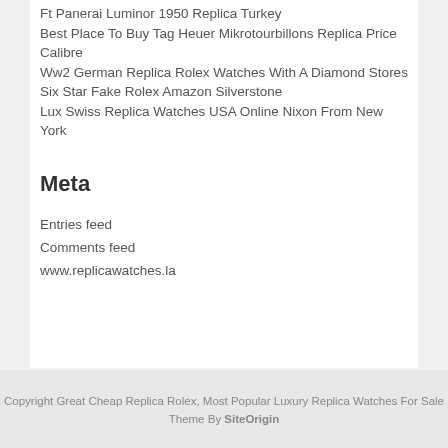Ft Panerai Luminor 1950 Replica Turkey
Best Place To Buy Tag Heuer Mikrotourbillons Replica Price Calibre
Ww2 German Replica Rolex Watches With A Diamond Stores
Six Star Fake Rolex Amazon Silverstone
Lux Swiss Replica Watches USA Online Nixon From New York
Meta
Entries feed
Comments feed
www.replicawatches.la
Copyright Great Cheap Replica Rolex, Most Popular Luxury Replica Watches For Sale
Theme By SiteOrigin